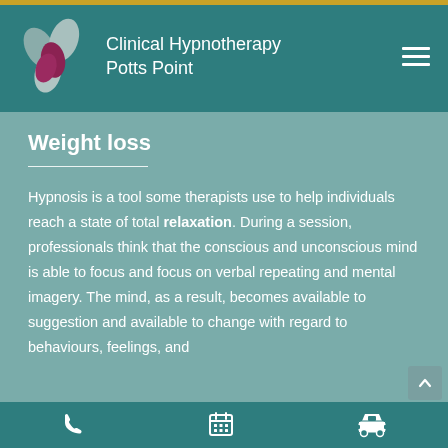Clinical Hypnotherapy Potts Point
Weight loss
Hypnosis is a tool some therapists use to help individuals reach a state of total relaxation. During a session, professionals think that the conscious and unconscious mind is able to focus and focus on verbal repeating and mental imagery. The mind, as a result, becomes available to suggestion and available to change with regard to behaviours, feelings, and
Phone | Calendar | Directions